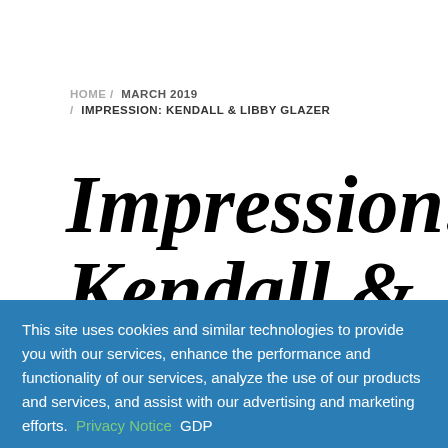HOME / MARCH 2019 / IMPRESSION: KENDALL & LIBBY GLAZER
Impression: Kendall & Libby Glazer
This site uses cookies and similar technologies to provide you with our services, enhance the performance and functionality of our services, analyze the use of our products and services, and assist with our advertising and marketing efforts. Privacy Notice GDPR